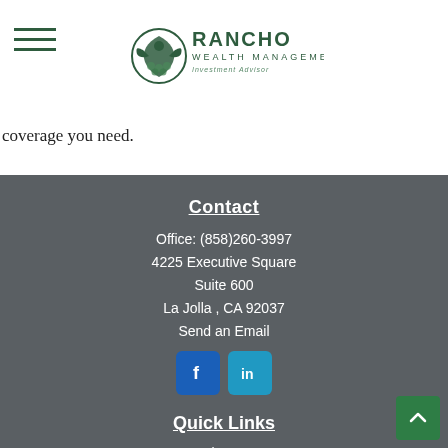[Figure (logo): Rancho Wealth Management logo with eagle/leaf icon and tagline 'Investment Advisor']
coverage you need.
Contact
Office: (858)260-3997
4225 Executive Square
Suite 600
La Jolla , CA 92037
Send an Email
[Figure (illustration): Social media icons: Facebook (f) and LinkedIn (in)]
Quick Links
Retirement
Investment
Estate